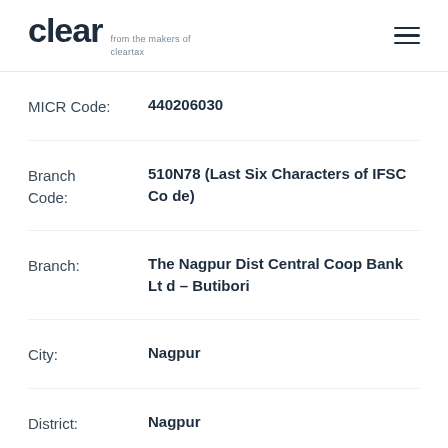clear from the makers of cleartax
MICR Code: 440206030
Branch Code: 510N78 (Last Six Characters of IFSC Code)
Branch: The Nagpur Dist Central Coop Bank Ltd - Butibori
City: Nagpur
District: Nagpur
State: Maharashtra